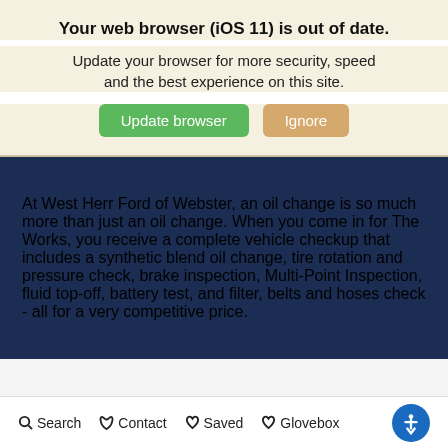Your web browser (iOS 11) is out of date.
Update your browser for more security, speed and the best experience on this site.
At West Herr Ford of Webster, an oil change is so much more than just an oil change. When you come in for The Works, you receive a complete vehicle checkup that includes a synthetic blend oil change, tire rotation and pressure check, brake inspection, Multi-Point Inspection, fluid top-off, battery test, and filter, belts and hoses check - all for a very competitive price.
Search  Contact  Saved  Glovebox